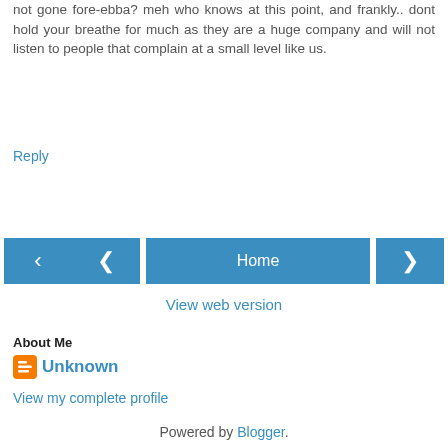not gone fore-ebba? meh who knows at this point, and frankly.. dont hold your breathe for much as they are a huge company and will not listen to people that complain at a small level like us.
Reply
Home
View web version
About Me
Unknown
View my complete profile
Powered by Blogger.